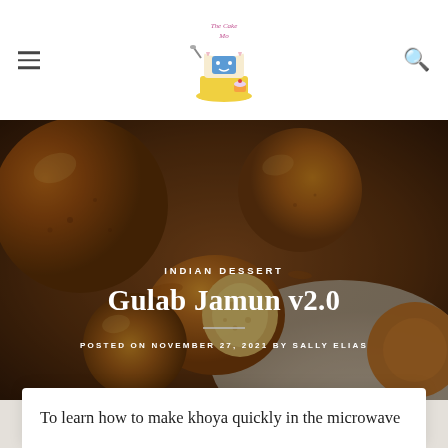The Cake Mo (logo) | hamburger menu | search icon
[Figure (photo): Close-up photo of Gulab Jamun (Indian dessert balls), round golden-brown syrup-soaked sweets, some cut in half showing spongy interior, on a light background with shallow depth of field]
INDIAN DESSERT
Gulab Jamun v2.0
POSTED ON NOVEMBER 27, 2021 BY SALLY ELIAS
To learn how to make khoya quickly in the microwave